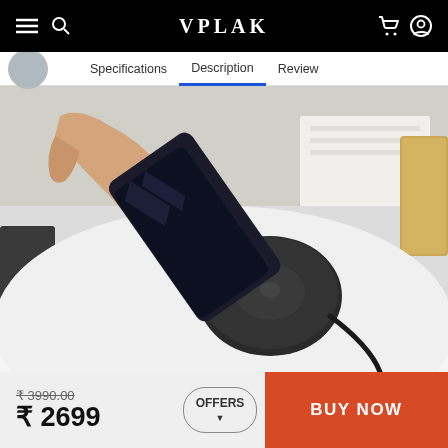VPLAK
Specifications | Description | Review
[Figure (photo): Person placing a smartphone onto a black round wireless charging pad on a white desk. A notebook and glass decoration are visible in the background.]
₹ 3990.00 (strikethrough) ₹ 2699
OFFERS
BUY NOW